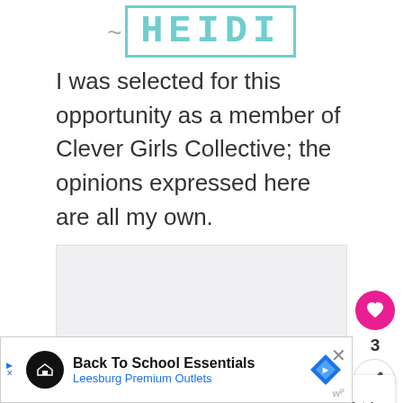~ HEIDI
I was selected for this opportunity as a member of Clever Girls Collective; the opinions expressed here are all my own.
[Figure (other): Blank/placeholder image area with social media interaction buttons (heart/like button showing count 3, share button) and a 'What's Next' preview card showing 'Chore Cootie Catcher']
[Figure (other): Advertisement bar: Back To School Essentials - Leesburg Premium Outlets]